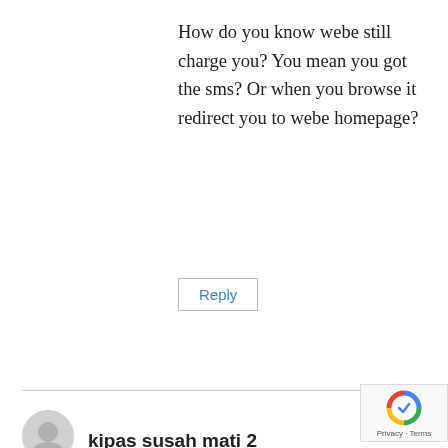How do you know webe still charge you? You mean you got the sms? Or when you browse it redirect you to webe homepage?
Reply
kipas susah mati 2
May 9, 2017 at 7:32 AM
mate 8 are using android 7,the way i launch is pdanet itself n then i need to switch on tethering from hp setting.i know that webe still charge me bec of they still can detech my tetherin data usage).from last month i get free 1